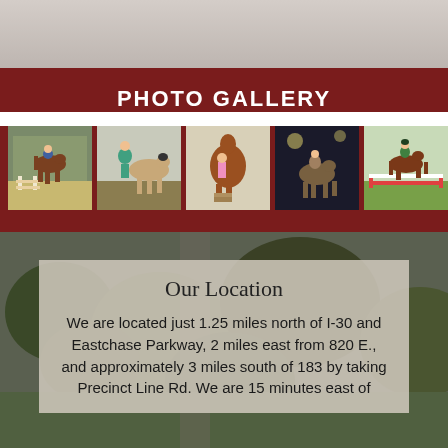PHOTO GALLERY
[Figure (photo): Equestrian photo gallery strip showing 5 thumbnail images of horse riding and jumping scenes]
Our Location
We are located just 1.25 miles north of I-30 and Eastchase Parkway, 2 miles east from 820 E., and approximately 3 miles south of 183 by taking Precinct Line Rd. We are 15 minutes east of